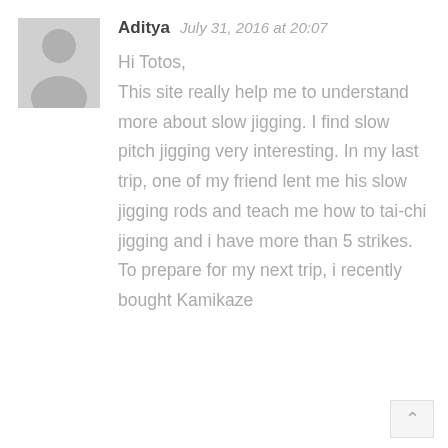[Figure (illustration): Gray placeholder avatar icon showing a person silhouette]
Aditya  July 31, 2016 at 20:07
Hi Totos,
This site really help me to understand more about slow jigging. I find slow pitch jigging very interesting. In my last trip, one of my friend lent me his slow jigging rods and teach me how to tai-chi jigging and i have more than 5 strikes.
To prepare for my next trip, i recently bought Kamikaze